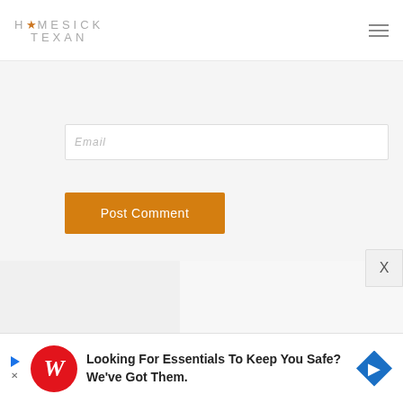HOMESICK TEXAN
Email
Post Comment
118 Comments
Older comments
[Figure (screenshot): Advertisement banner: Walgreens - Looking For Essentials To Keep You Safe? We've Got Them.]